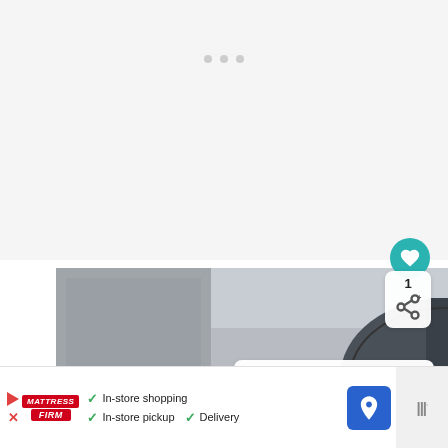[Figure (other): White/light grey blank area at top of page, likely a loading or empty content area with three small grey dots near top center]
[Figure (photo): Photograph of a large classical European cathedral or basilica, showing the ornate dome and two towers with clock faces, stone carvings on the pediment, overcast sky in the background. Likely St. Stephen's Basilica in Budapest.]
[Figure (other): What's Next panel showing thumbnail image of stairs/escalator and text 'Flying With A Toddler']
[Figure (other): Advertisement banner for Mattress Firm showing in-store shopping, in-store pickup, and delivery options with a blue navigation icon on the right]